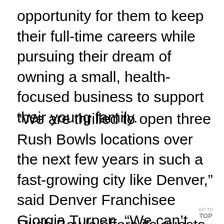opportunity for them to keep their full-time careers while pursuing their dream of owning a small, health-focused business to support their young family.
“We are thrilled to open three Rush Bowls locations over the next few years in such a fast-growing city like Denver,” said Denver Franchisee Giorgia Turpen. “We can’t wait to share our passion for high-quality, healthy meals with the community. We are confident that they will fall in love with this unique concept just as quickly as we did.”
Rush Bowls offers its guests a wide
GO TO TOP